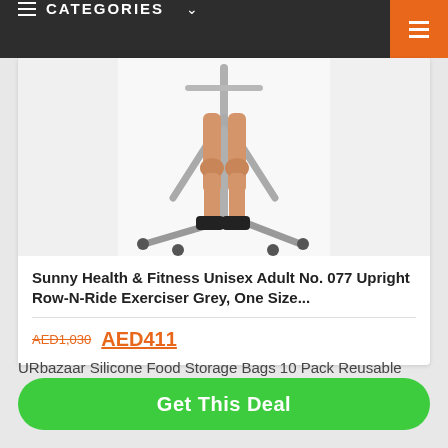≡ CATEGORIES ∨
[Figure (photo): Person using Sunny Health & Fitness Upright Row-N-Ride Exerciser machine, silver metal frame, person's legs visible]
Sunny Health & Fitness Unisex Adult No. 077 Upright Row-N-Ride Exerciser Grey, One Size...
AED1,030 AED411
URbazaar Silicone Food Storage Bags 10 Pack Reusable
Get This Deal